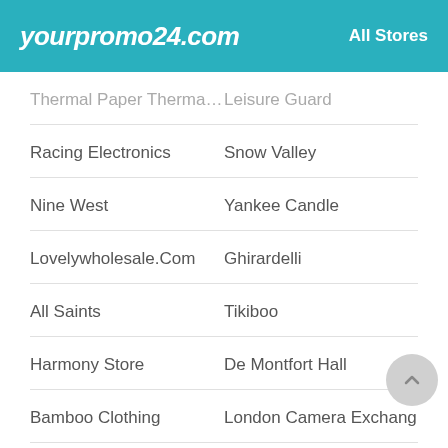yourpromo24.com — All Stores
Thermal Paper Thermal P...
Leisure Guard
Racing Electronics
Snow Valley
Nine West
Yankee Candle
Lovelywholesale.Com
Ghirardelli
All Saints
Tikiboo
Harmony Store
De Montfort Hall
Bamboo Clothing
London Camera Exchang...
Internet Ink
Priority Plumbing